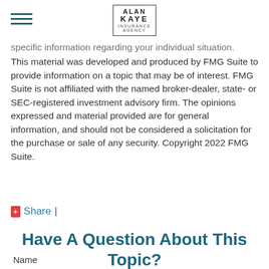Alan Kaye Insurance Agency
specific information regarding your individual situation. This material was developed and produced by FMG Suite to provide information on a topic that may be of interest. FMG Suite is not affiliated with the named broker-dealer, state- or SEC-registered investment advisory firm. The opinions expressed and material provided are for general information, and should not be considered a solicitation for the purchase or sale of any security. Copyright 2022 FMG Suite.
Share |
Have A Question About This Topic?
Name